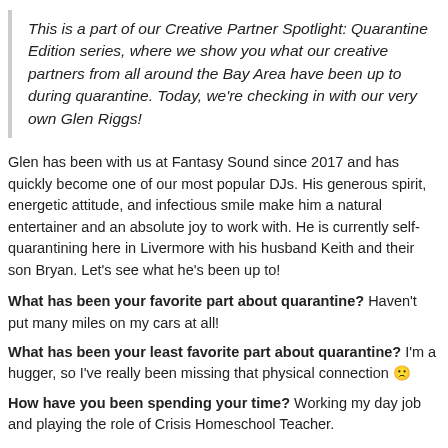This is a part of our Creative Partner Spotlight: Quarantine Edition series, where we show you what our creative partners from all around the Bay Area have been up to during quarantine. Today, we're checking in with our very own Glen Riggs!
Glen has been with us at Fantasy Sound since 2017 and has quickly become one of our most popular DJs. His generous spirit, energetic attitude, and infectious smile make him a natural entertainer and an absolute joy to work with. He is currently self-quarantining here in Livermore with his husband Keith and their son Bryan. Let's see what he's been up to!
What has been your favorite part about quarantine? Haven't put many miles on my cars at all!
What has been your least favorite part about quarantine? I'm a hugger, so I've really been missing that physical connection 🙁
How have you been spending your time? Working my day job and playing the role of Crisis Homeschool Teacher.